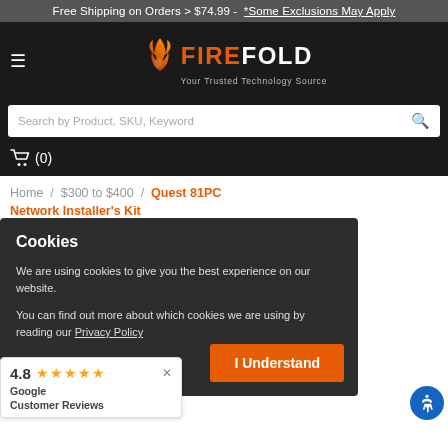Free Shipping on Orders > $74.99 - *Some Exclusions May Apply
[Figure (logo): FireFold logo with flame icon and tagline 'Your Trusted Technology Source' on dark background, with hamburger menu icon]
Search by Product, SKU, Keyword
(0)
Home / $300 to $400 / Quest 81PC Network Installer's Kit
Cookies
We are using cookies to give you the best experience on our website.
You can find out more about which cookies we are using by reading our Privacy Policy
I Understand
4.8 ★★★★★ Google Customer Reviews